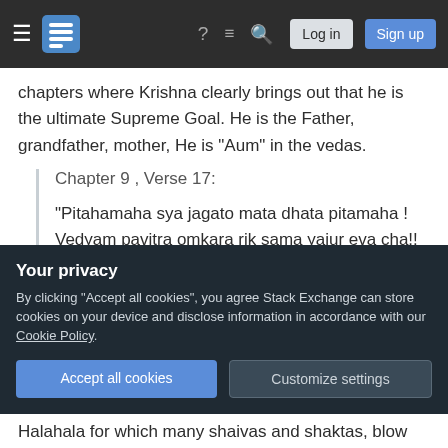Stack Exchange navigation bar with Log in and Sign up buttons
chapters where Krishna clearly brings out that he is the ultimate Supreme Goal. He is the Father, grandfather, mother, He is "Aum" in the vedas.
Chapter 9 , Verse 17:
"Pitahamaha sya jagato mata dhata pitamaha ! Vedyam pavitra omkara rik sama yajur eva cha!!
Lord Krishna is saying he is the
Your privacy
By clicking "Accept all cookies", you agree Stack Exchange can store cookies on your device and disclose information in accordance with our Cookie Policy.
Accept all cookies
Customize settings
Halahala for which many shaivas and shaktas, blow